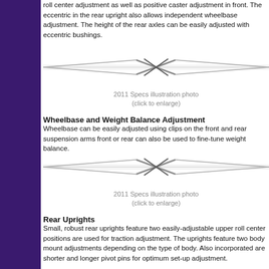roll center adjustment as well as positive caster adjustment in front. The eccentric in the rear upright also allows independent wheelbase adjustment. The height of the rear axles can be easily adjusted with eccentric bushings.
[Figure (illustration): Decorative divider with X logo graphic in gray tones]
2011 Specs illustration photo
(click to enlarge)
Wheelbase and Weight Balance Adjustment
Wheelbase can be easily adjusted using clips on the front and rear suspension arms front or rear can also be used to fine-tune weight balance.
[Figure (illustration): Decorative divider with X logo graphic in gray tones]
2011 Specs illustration photo
(click to enlarge)
Rear Uprights
Small, robust rear uprights feature two easily-adjustable upper roll center positions are used for traction adjustment. The uprights feature two body mount adjustments depending on the type of body. Also incorporated are shorter and longer pivot pins for optimum set-up adjustment.